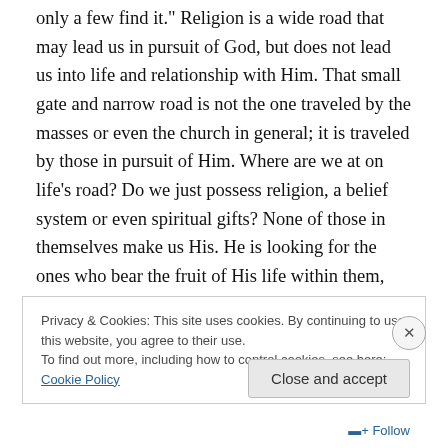only a few find it." Religion is a wide road that may lead us in pursuit of God, but does not lead us into life and relationship with Him. That small gate and narrow road is not the one traveled by the masses or even the church in general; it is traveled by those in pursuit of Him. Where are we at on life's road? Do we just possess religion, a belief system or even spiritual gifts? None of those in themselves make us His. He is looking for the ones who bear the fruit of His life within them, who are faithful with what He entrust them with, who are watching and preparing for Him and those who are ministering the life to
Privacy & Cookies: This site uses cookies. By continuing to use this website, you agree to their use.
To find out more, including how to control cookies, see here: Cookie Policy
Close and accept